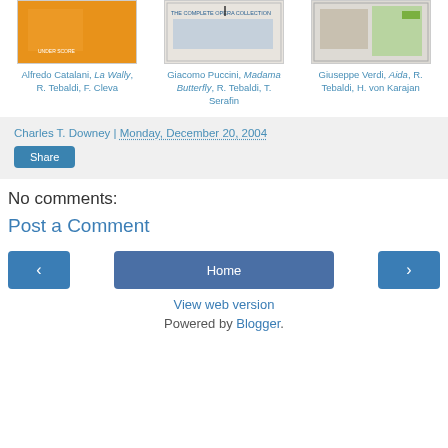[Figure (photo): Three opera album covers: Alfredo Catalani La Wally (orange cover), Giacomo Puccini Madama Butterfly, Giuseppe Verdi Aida]
Alfredo Catalani, La Wally, R. Tebaldi, F. Cleva
Giacomo Puccini, Madama Butterfly, R. Tebaldi, T. Serafin
Giuseppe Verdi, Aida, R. Tebaldi, H. von Karajan
Charles T. Downey | Monday, December 20, 2004
Share
No comments:
Post a Comment
Home
View web version
Powered by Blogger.